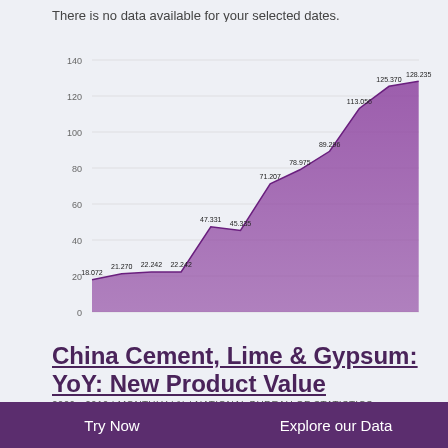There is no data available for your selected dates.
[Figure (area-chart): CN: Cement, Lime & Gypsum: YoY: Loan Amount: ytd]
SOURCE: WWW.CEICDATA.COM | National Bureau of Statistics
China Cement, Lime & Gypsum: YoY: New Product Value
2009 - 2010 | MONTHLY | % | NATIONAL BUREAU OF STATISTICS
CN: Cement, Lime & Gypsum: YoY: New Product Value data